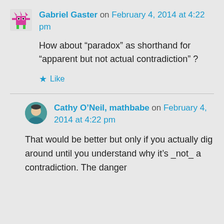Gabriel Gaster on February 4, 2014 at 4:22 pm
How about “paradox” as shorthand for “apparent but not actual contradiction” ?
Like
Cathy O’Neil, mathbabe on February 4, 2014 at 4:22 pm
That would be better but only if you actually dig around until you understand why it’s _not_ a contradiction. The danger